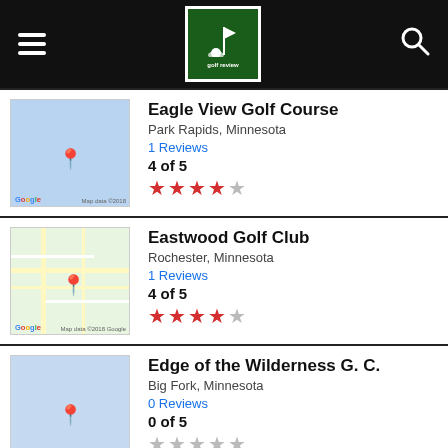[Figure (screenshot): App header with hamburger menu, Golf Review logo, and search icon on dark background]
Eagle View Golf Course
Park Rapids, Minnesota
1 Reviews
4 of 5
[Figure (other): 4 out of 5 red stars rating]
Eastwood Golf Club
Rochester, Minnesota
1 Reviews
4 of 5
[Figure (other): 4 out of 5 red stars rating]
Edge of the Wilderness G. C.
Big Fork, Minnesota
0 Reviews
0 of 5
[Figure (other): 0 out of 5 gray stars rating]
Edina Country Club
Edina, Minnesota